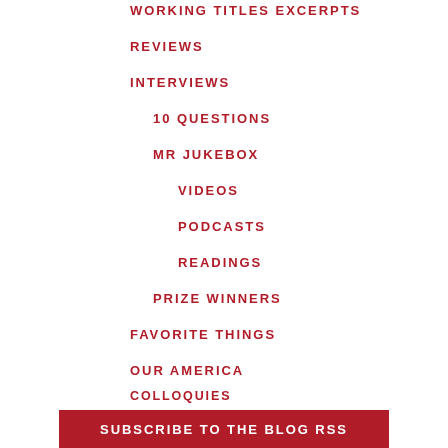WORKING TITLES EXCERPTS
REVIEWS
INTERVIEWS
10 QUESTIONS
MR JUKEBOX
VIDEOS
PODCASTS
READINGS
PRIZE WINNERS
FAVORITE THINGS
OUR AMERICA
COLLOQUIES
BROADSIDES
SUBSCRIBE TO THE BLOG RSS